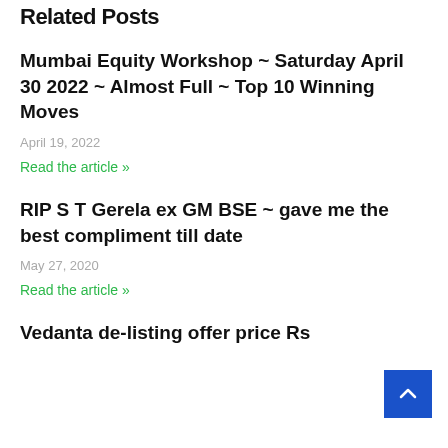Related Posts
Mumbai Equity Workshop ~ Saturday April 30 2022 ~ Almost Full ~ Top 10 Winning Moves
April 19, 2022
Read the article »
RIP S T Gerela ex GM BSE ~ gave me the best compliment till date
May 27, 2020
Read the article »
Vedanta de-listing offer price Rs